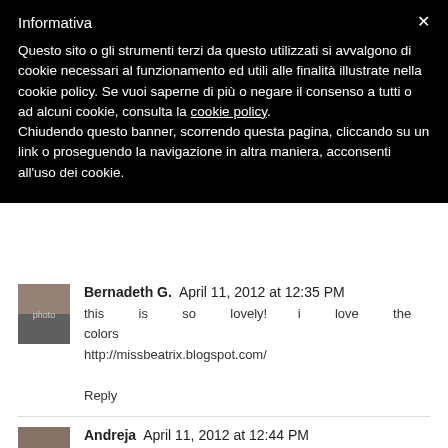Informativa
Questo sito o gli strumenti terzi da questo utilizzati si avvalgono di cookie necessari al funzionamento ed utili alle finalità illustrate nella cookie policy. Se vuoi saperne di più o negare il consenso a tutti o ad alcuni cookie, consulta la cookie policy. Chiudendo questo banner, scorrendo questa pagina, cliccando su un link o proseguendo la navigazione in altra maniera, acconsenti all'uso dei cookie.
Bernadeth G.  April 11, 2012 at 12:35 PM
this is so lovely! i love the colors
http://missbeatrix.blogspot.com/
Reply
Andreja  April 11, 2012 at 12:44 PM